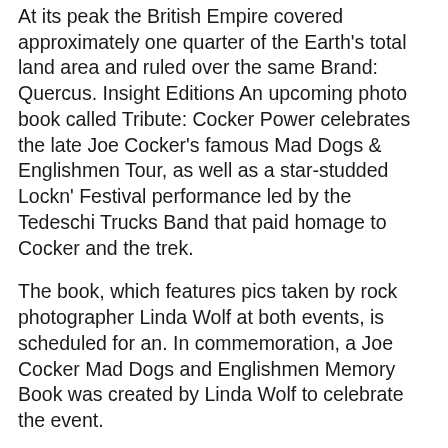At its peak the British Empire covered approximately one quarter of the Earth's total land area and ruled over the same Brand: Quercus. Insight Editions An upcoming photo book called Tribute: Cocker Power celebrates the late Joe Cocker's famous Mad Dogs & Englishmen Tour, as well as a star-studded Lockn' Festival performance led by the Tedeschi Trucks Band that paid homage to Cocker and the trek.
The book, which features pics taken by rock photographer Linda Wolf at both events, is scheduled for an. In commemoration, a Joe Cocker Mad Dogs and Englishmen Memory Book was created by Linda Wolf to celebrate the event.
Ina feature-length documentary film about Cocker titled Joe Cocker: Mad Dog with Soul was released. Personal life. InCocker began dating Eileen Webster, also a. Charles C. Cooke is the editor ofa co-host of the Mad Dogs and Englishmen podcast, and the author of The Conservatarian Manifesto.
Charles is a graduate of the University of Oxford, at which he studied modern history and politics. "Mad Dogs and Englishmen is committed by Neil...